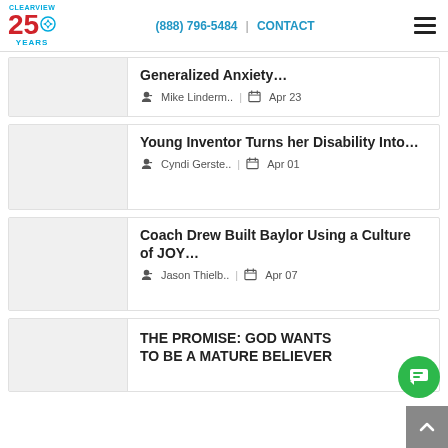CLEARVIEW 25 YEARS | (888) 796-5484 | CONTACT
Generalized Anxiety... | Mike Linderm.. | Apr 23
Young Inventor Turns her Disability Into... | Cyndi Gerste.. | Apr 01
Coach Drew Built Baylor Using a Culture of JOY... | Jason Thielb.. | Apr 07
THE PROMISE: GOD WANTS TO BE A MATURE BELIEVER